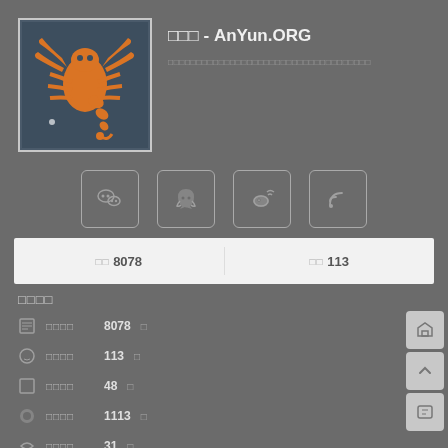[Figure (logo): Scorpion silhouette logo in orange on dark blue background, within a white-bordered box]
安云站 - AnYun.ORG
□□□□□□□□□□□□□□□□□□□□□□□□□□□□□□□□□□□
[Figure (infographic): Four social media icon buttons in rounded square boxes: WeChat, QQ, Weibo, RSS]
| 文章 8078 | 评论 113 |
| --- | --- |
站点统计
发表文章  8078 篇
读者评论  113 条
分类目录  48 个
日志标签  1113 个
友情链接  31 个
页面浏览  3068 次